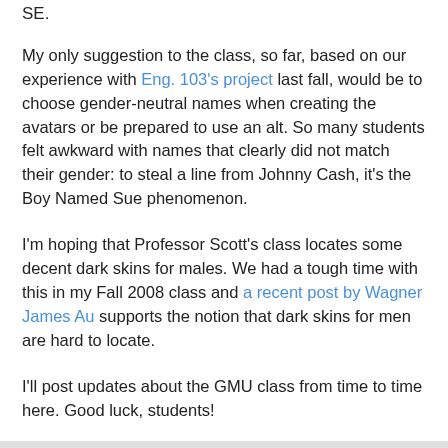SE.
My only suggestion to the class, so far, based on our experience with Eng. 103's project last fall, would be to choose gender-neutral names when creating the avatars or be prepared to use an alt. So many students felt awkward with names that clearly did not match their gender: to steal a line from Johnny Cash, it's the Boy Named Sue phenomenon.
I'm hoping that Professor Scott's class locates some decent dark skins for males. We had a tough time with this in my Fall 2008 class and a recent post by Wagner James Au supports the notion that dark skins for men are hard to locate.
I'll post updates about the GMU class from time to time here. Good luck, students!
Iggy O at 2:03 PM    No comments: